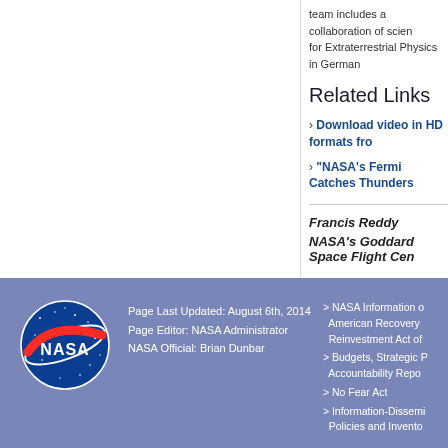team includes a collaboration of scien for Extraterrestrial Physics in German
Related Links
› Download video in HD formats fro
› "NASA's Fermi Catches Thunders
Francis Reddy
NASA's Goddard Space Flight Cen
Page Last Updated: August 6th, 2014  Page Editor: NASA Administrator  NASA Official: Brian Dunbar  > NASA Information o American Recovery Reinvestment Act of > Budgets, Strategic P Accountability Repo > No Fear Act > Information-Dissemi Policies and Invento